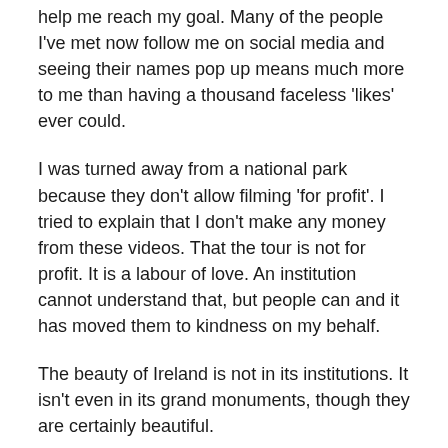help me reach my goal. Many of the people I've met now follow me on social media and seeing their names pop up means much more to me than having a thousand faceless 'likes' ever could.
I was turned away from a national park because they don't allow filming 'for profit'. I tried to explain that I don't make any money from these videos. That the tour is not for profit. It is a labour of love. An institution cannot understand that, but people can and it has moved them to kindness on my behalf.
The beauty of Ireland is not in its institutions. It isn't even in its grand monuments, though they are certainly beautiful.
The real beauty of Ireland is its people. People who have welcomed me, helped me, given me the benefit of the